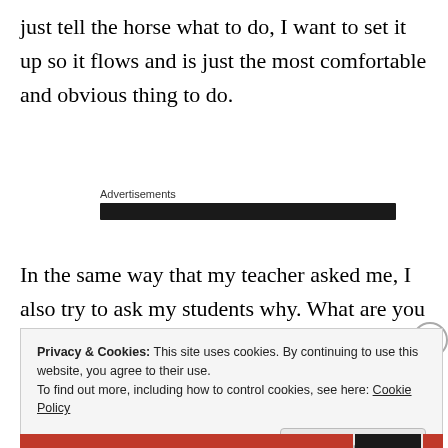just tell the horse what to do, I want to set it up so it flows and is just the most comfortable and obvious thing to do.
Advertisements
In the same way that my teacher asked me, I also try to ask my students why. What are you hoping to
Privacy & Cookies: This site uses cookies. By continuing to use this website, you agree to their use.
To find out more, including how to control cookies, see here: Cookie Policy
Close and accept